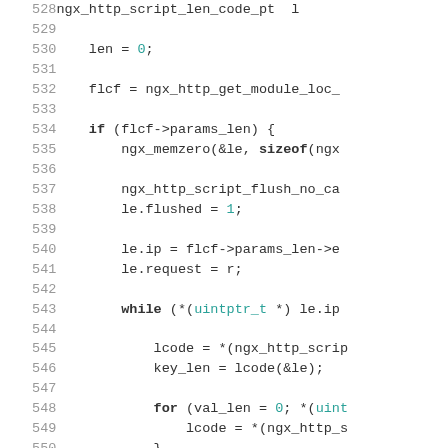[Figure (screenshot): Source code listing showing C code lines 528-557, with line numbers on the left in gray and code on the right. Keywords like if, while, for, sizeof are bold. Numeric literals and type names are in teal/cyan color.]